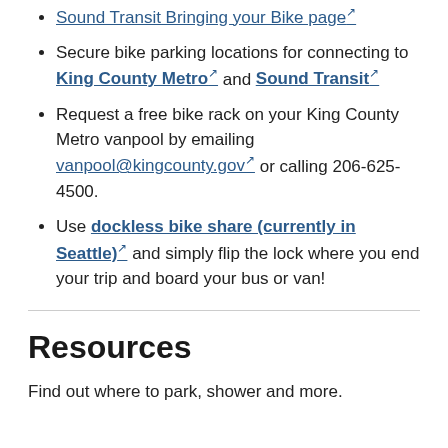Sound Transit Bringing your Bike page [external link]
Secure bike parking locations for connecting to King County Metro [external link] and Sound Transit [external link]
Request a free bike rack on your King County Metro vanpool by emailing vanpool@kingcounty.gov [external link] or calling 206-625-4500.
Use dockless bike share (currently in Seattle) [external link] and simply flip the lock where you end your trip and board your bus or van!
Resources
Find out where to park, shower and more.